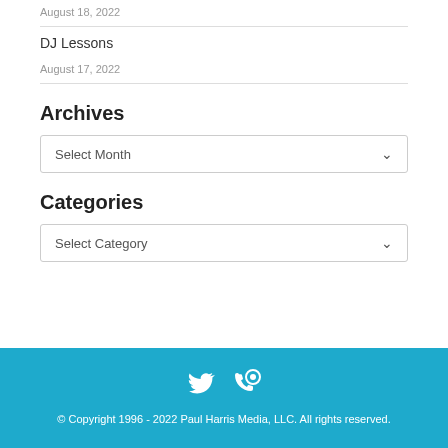August 18, 2022
DJ Lessons
August 17, 2022
Archives
Select Month
Categories
Select Category
© Copyright 1996 - 2022 Paul Harris Media, LLC. All rights reserved.